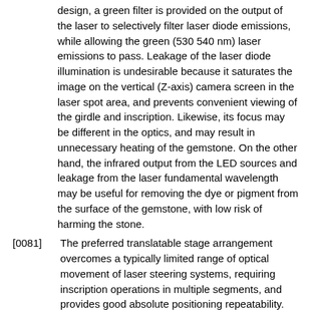design, a green filter is provided on the output of the laser to selectively filter laser diode emissions, while allowing the green (530 540 nm) laser emissions to pass. Leakage of the laser diode illumination is undesirable because it saturates the image on the vertical (Z-axis) camera screen in the laser spot area, and prevents convenient viewing of the girdle and inscription. Likewise, its focus may be different in the optics, and may result in unnecessary heating of the gemstone. On the other hand, the infrared output from the LED sources and leakage from the laser fundamental wavelength may be useful for removing the dye or pigment from the surface of the gemstone, with low risk of harming the stone.
[0081] The preferred translatable stage arrangement overcomes a typically limited range of optical movement of laser steering systems, requiring inscription operations in multiple segments, and provides good absolute positioning repeatability. However, according to some embodiments of the invention, other types of beam positioning